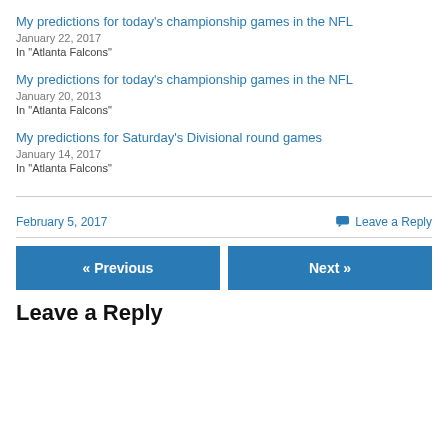My predictions for today's championship games in the NFL
January 22, 2017
In "Atlanta Falcons"
My predictions for today's championship games in the NFL
January 20, 2013
In "Atlanta Falcons"
My predictions for Saturday's Divisional round games
January 14, 2017
In "Atlanta Falcons"
February 5, 2017
Leave a Reply
« Previous
Next »
Leave a Reply